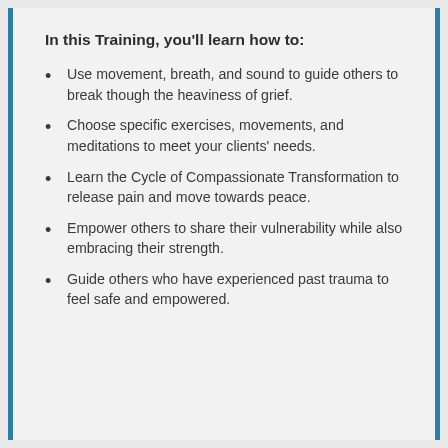In this Training, you'll learn how to:
Use movement, breath, and sound to guide others to break though the heaviness of grief.
Choose specific exercises, movements, and meditations to meet your clients' needs.
Learn the Cycle of Compassionate Transformation to release pain and move towards peace.
Empower others to share their vulnerability while also embracing their strength.
Guide others who have experienced past trauma to feel safe and empowered.